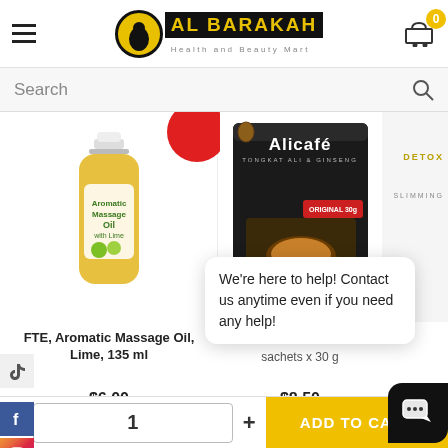AL BARAKAH Health and Beauty Mart
Search
[Figure (photo): FTE Aromatic Massage Oil with Lime, 135ml bottle, yellow-green liquid]
FTE, Aromatic Massage Oil, Lime, 135 ml
$6.00
[Figure (photo): Alicafe Tongkat Ali & Ginseng coffee product box, 20 sachets x 30g, dark packaging with coffee cup image]
Po... sachets x 30 g
$8.50
We're here to help! Contact us anytime even if you need any help!